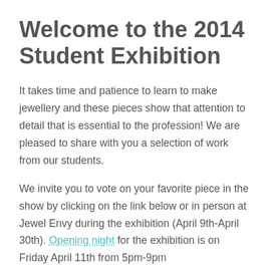Welcome to the 2014 Student Exhibition
It takes time and patience to learn to make jewellery and these pieces show that attention to detail that is essential to the profession! We are pleased to share with you a selection of work from our students.
We invite you to vote on your favorite piece in the show by clicking on the link below or in person at Jewel Envy during the exhibition (April 9th-April 30th). Opening night for the exhibition is on Friday April 11th from 5pm-9pm